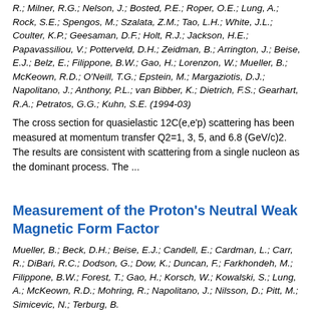R.; Milner, R.G.; Nelson, J.; Bosted, P.E.; Roper, O.E.; Lung, A.; Rock, S.E.; Spengos, M.; Szalata, Z.M.; Tao, L.H.; White, J.L.; Coulter, K.P.; Geesaman, D.F.; Holt, R.J.; Jackson, H.E.; Papavassiliou, V.; Potterveld, D.H.; Zeidman, B.; Arrington, J.; Beise, E.J.; Belz, E.; Filippone, B.W.; Gao, H.; Lorenzon, W.; Mueller, B.; McKeown, R.D.; O'Neill, T.G.; Epstein, M.; Margaziotis, D.J.; Napolitano, J.; Anthony, P.L.; van Bibber, K.; Dietrich, F.S.; Gearhart, R.A.; Petratos, G.G.; Kuhn, S.E. (1994-03)
The cross section for quasielastic 12C(e,e'p) scattering has been measured at momentum transfer Q2=1, 3, 5, and 6.8 (GeV/c)2. The results are consistent with scattering from a single nucleon as the dominant process. The ...
Measurement of the Proton's Neutral Weak Magnetic Form Factor
Mueller, B.; Beck, D.H.; Beise, E.J.; Candell, E.; Cardman, L.; Carr, R.; DiBari, R.C.; Dodson, G.; Dow, K.; Duncan, F.; Farkhondeh, M.; Filippone, B.W.; Forest, T.; Gao, H.; Korsch, W.; Kowalski, S.; Lung, A.; McKeown, R.D.; Mohring, R.; Napolitano, J.; Nilsson, D.; Pitt, M.; Simicevic, N.; Terburg, B.